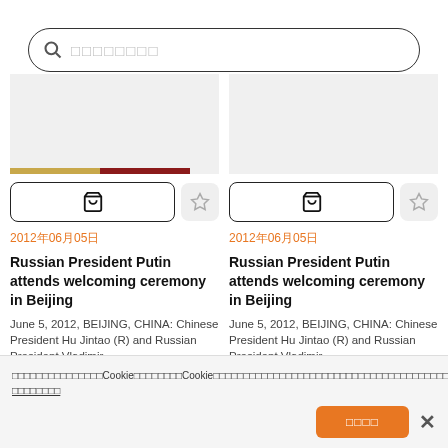[Figure (screenshot): Search bar with magnifying glass icon and placeholder text (CJK characters)]
[Figure (screenshot): Left product card with image placeholder showing colored stripe, cart button, favorite button, date, title, description, and ID]
[Figure (screenshot): Right product card with image placeholder, cart button, favorite button, date, title, description, and ID]
2012年06月05日
Russian President Putin attends welcoming ceremony in Beijing
June 5, 2012, BEIJING, CHINA: Chinese President Hu Jintao (R) and Russian President Vladimir...
画像番号: 2022030803373
2012年06月05日
Russian President Putin attends welcoming ceremony in Beijing
June 5, 2012, BEIJING, CHINA: Chinese President Hu Jintao (R) and Russian President Vladimir...
画像番号: 2022030803192
当社のウェブサイトではCookieを使用しています。Cookieの使用に同意いただける場合は「同意して続ける」ボタンをクリックしてください。Cookieの詳細については プライバシーポリシー
[Figure (screenshot): Cookie consent banner with accept button and close X button]